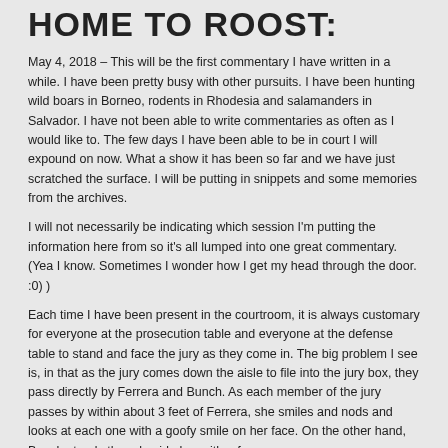HOME TO ROOST:
May 4, 2018  – This will be the first commentary I have written in a while. I have been pretty busy with other pursuits. I have been hunting wild boars in Borneo, rodents in Rhodesia and salamanders in Salvador. I have not been able to write commentaries as often as I would like to. The few days I have been able to be in court I will expound on now. What a show it has been so far and we have just scratched the surface. I will be putting in snippets and some memories from the archives.
I will not necessarily be indicating which session I'm putting the information here from so it's all lumped into one great commentary. (Yea I know. Sometimes I wonder how I get my head through the door. :0) )
Each time I have been present in the courtroom, it is always customary for everyone at the prosecution table and everyone at the defense table to stand and face the jury as they come in. The big problem I see is, in that as the jury comes down the aisle to file into the jury box, they pass directly by Ferrera and Bunch. As each member of the jury passes by within about 3 feet of Ferrera, she smiles and nods and looks at each one with a goofy smile on her face. On the other hand, Bunch stands there beside her with a face